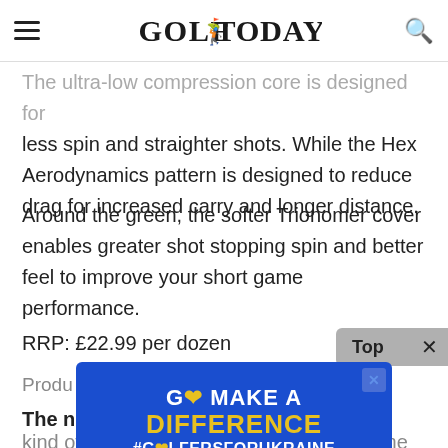GOLF TODAY
The ultra-low compression core is designed for less spin and straighter shots. While the Hex Aerodynamics pattern is designed to reduce drag for increased carry and longer distance.
Around the green, the softer Trionomer cover enables greater shot stopping spin and better feel to improve your short game performance.
RRP: £22.99 per dozen
Product
The new kind of golf ball designed to make the game easier
[Figure (infographic): Advertisement banner: GO MAKE A DIFFERENCE #GOLFERSFORUKRAINE on blue background with yellow text and heart logo]